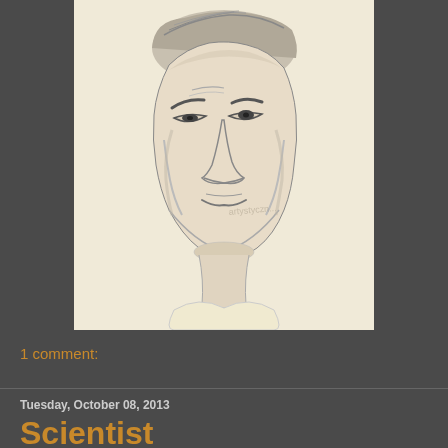[Figure (illustration): Pencil sketch portrait of a man with sharp facial features, furrowed brow, and short dark hair, rendered in graphite on cream/off-white paper. The figure is shown from the chest up, head slightly tilted down. A faint watermark is visible on the lower right of the portrait.]
1 comment:
Tuesday, October 08, 2013
Scientist